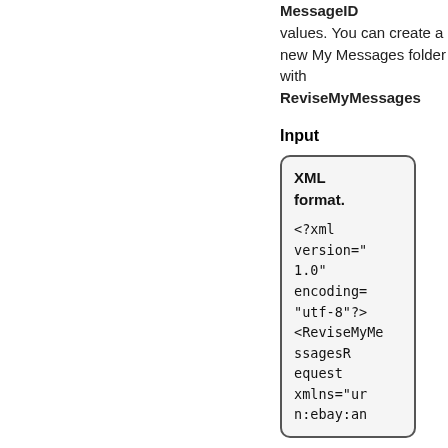MessageID values. You can create a new My Messages folder with ReviseMyMessages
Input
XML format.

<?xml version="1.0" encoding="utf-8"?>
<ReviseMyMessagesRequest xmlns="urn:ebay:an